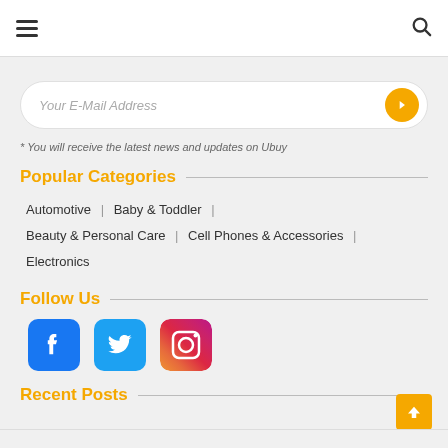Navigation header with hamburger menu and search icon
Your E-Mail Address
* You will receive the latest news and updates on Ubuy
Popular Categories
Automotive | Baby & Toddler | Beauty & Personal Care | Cell Phones & Accessories | Electronics
Follow Us
[Figure (logo): Facebook, Twitter, and Instagram social media icons]
Recent Posts